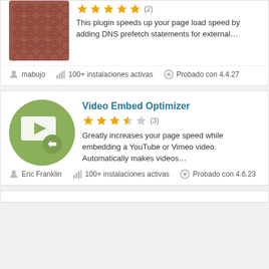[Figure (illustration): Brown plugin thumbnail with circular dot pattern]
This plugin speeds up your page load speed by adding DNS prefetch statements for external...
mabujo
100+ instalaciones activas
Probado con 4.4.27
Video Embed Optimizer
[Figure (illustration): Green circle icon with video embed play button and arrow symbol]
Greatly increases your page speed while embedding a YouTube or Vimeo video. Automatically makes videos...
Eric Franklin
100+ instalaciones activas
Probado con 4.6.23